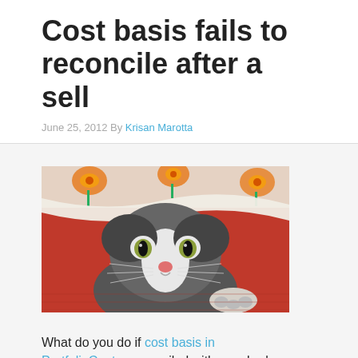Cost basis fails to reconcile after a sell
June 25, 2012 By Krisan Marotta
[Figure (photo): A kitten with wide eyes peeking out from under a floral blanket, lying on a red surface]
What do you do if cost basis in PortfolioCenter reconciled with your broker